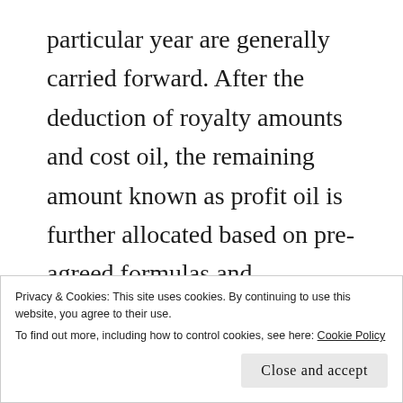particular year are generally carried forward. After the deduction of royalty amounts and cost oil, the remaining amount known as profit oil is further allocated based on pre-agreed formulas and percentages. This profit oil is also subject to regular profit-based taxes with deductions applying based on the tax law. The cost oil ceiling allows the government to recover
Privacy & Cookies: This site uses cookies. By continuing to use this website, you agree to their use.
To find out more, including how to control cookies, see here: Cookie Policy